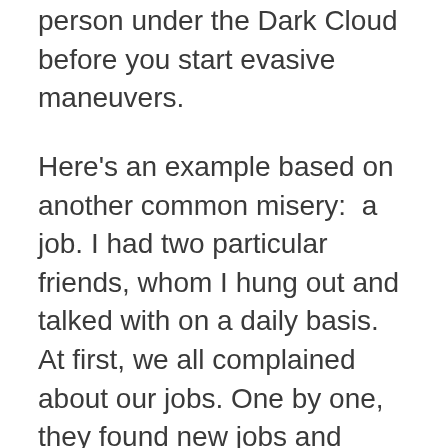person under the Dark Cloud before you start evasive maneuvers.
Here's an example based on another common misery:  a job. I had two particular friends, whom I hung out and talked with on a daily basis. At first, we all complained about our jobs. One by one, they found new jobs and were re-energized. I hadn't tried to change my circumstances like they did. Instead, I continued to bring my misery-fest into our interactions